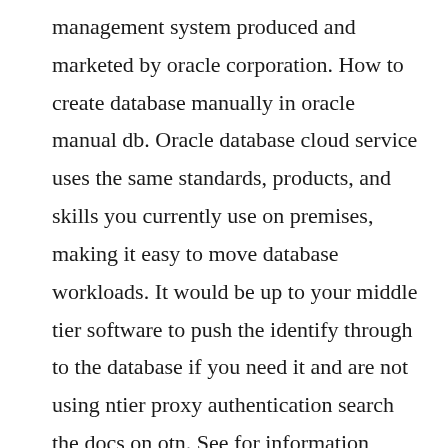management system produced and marketed by oracle corporation. How to create database manually in oracle manual db. Oracle database cloud service uses the same standards, products, and skills you currently use on premises, making it easy to move database workloads. It would be up to your middle tier software to push the identify through to the database if you need it and are not using ntier proxy authentication search the docs on otn. See for information about downloads and documentation. Easily deploy